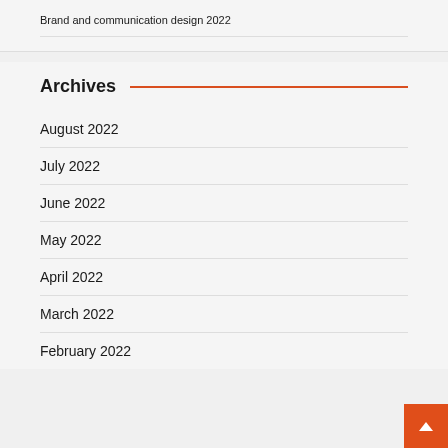Brand and communication design 2022
Archives
August 2022
July 2022
June 2022
May 2022
April 2022
March 2022
February 2022